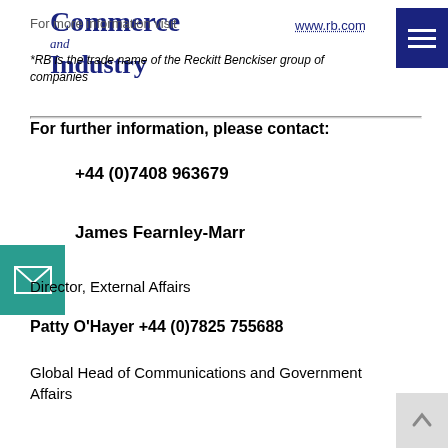Commerce and Industry — www.rb.com
*RB is the trade name of the Reckitt Benckiser group of companies
For further information, please contact:
+44 (0)7408 963679
James Fearnley-Marr
Director, External Affairs
Patty O'Hayer +44 (0)7825 755688
Global Head of Communications and Government Affairs